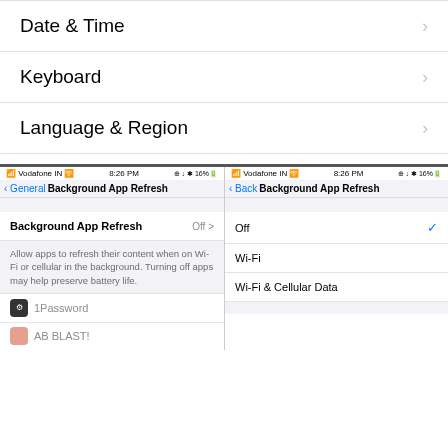Date & Time
Keyboard
Language & Region
[Figure (screenshot): Two iOS screenshots showing Background App Refresh settings. Left: General > Background App Refresh with Off state and description text. Right: Background App Refresh options: Off (checked), Wi-Fi, Wi-Fi & Cellular Data.]